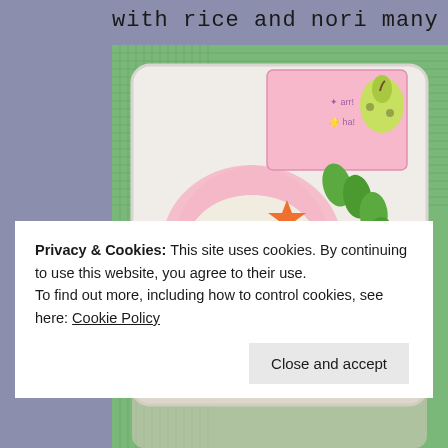with rice and nori many stories are
[Figure (photo): Close-up photo of a Japanese bento box with colorful food items including potato salad in a pink decorative cup with star-shaped carrot pieces, edamame beans, and cute animal food picks (red crab and teal dinosaur), on a green woven mat background]
Privacy & Cookies: This site uses cookies. By continuing to use this website, you agree to their use.
To find out more, including how to control cookies, see here: Cookie Policy
Close and accept